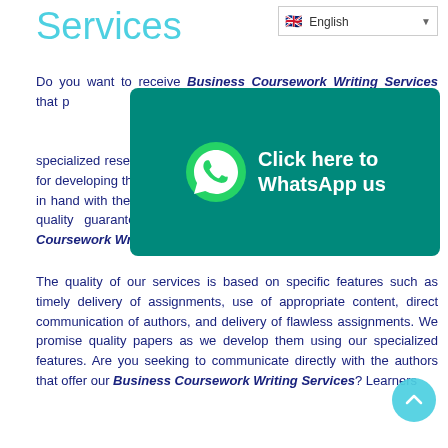Services
[Figure (screenshot): Language selector dropdown showing English with flag icon]
Do you want to receive Business Coursework Writing Services that provide... develop all assignments from... authentic and appropriate content... administration studies. We have a group of specialized researchers who are tasked with seeking specific content for developing the assignment. The investigation team works for hand in hand with the authors in getting the right material for the paper. Is quality guaranteed when one accesses your online Business Coursework Writing Services?
[Figure (infographic): WhatsApp promotional banner with green background, WhatsApp phone icon, and text 'Click here to WhatsApp us']
The quality of our services is based on specific features such as timely delivery of assignments, use of appropriate content, direct communication of authors, and delivery of flawless assignments. We promise quality papers as we develop them using our specialized features. Are you seeking to communicate directly with the authors that offer our Business Coursework Writing Services? Learners...